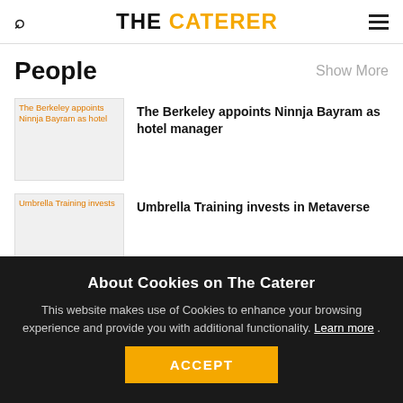THE CATERER
People
Show More
[Figure (photo): Thumbnail image: The Berkeley appoints Ninnja Bayram as hotel manager]
The Berkeley appoints Ninnja Bayram as hotel manager
[Figure (photo): Thumbnail image: Umbrella Training invests]
Umbrella Training invests in Metaverse
About Cookies on The Caterer
This website makes use of Cookies to enhance your browsing experience and provide you with additional functionality. Learn more .
ACCEPT